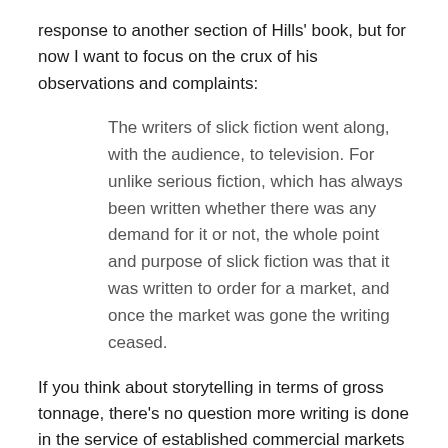response to another section of Hills' book, but for now I want to focus on the crux of his observations and complaints:
The writers of slick fiction went along, with the audience, to television. For unlike serious fiction, which has always been written whether there was any demand for it or not, the whole point and purpose of slick fiction was that it was written to order for a market, and once the market was gone the writing ceased.
If you think about storytelling in terms of gross tonnage, there's no question more writing is done in the service of established commercial markets than is done in the service of art. That's neither a surprise nor a pejorative observation. I don't know